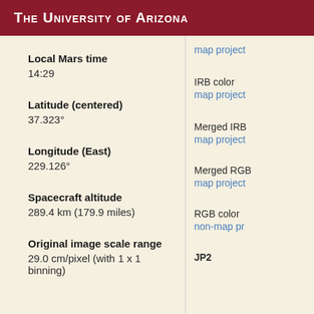The University of Arizona
Local Mars time
14:29
IRB color
map project
Latitude (centered)
37.323°
Merged IRB
map project
Longitude (East)
229.126°
Merged RGB
map project
Spacecraft altitude
289.4 km (179.9 miles)
RGB color
non-map pr
Original image scale range
29.0 cm/pixel (with 1 x 1 binning)
JP2